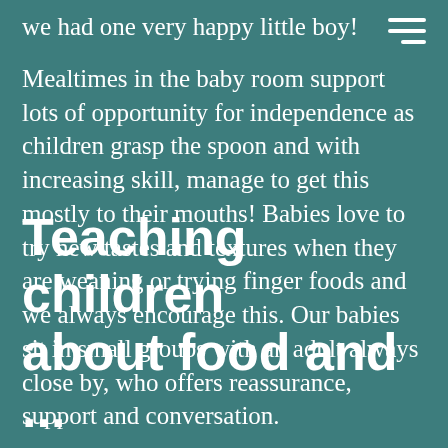we had one very happy little boy!
Mealtimes in the baby room support lots of opportunity for independence as children grasp the spoon and with increasing skill, manage to get this mostly to their mouths! Babies love to try new tastes and textures when they are weaning or trying finger foods and we always encourage this. Our babies sit in small groups with an adult always close by, who offers reassurance, support and conversation.
Teaching children about food and